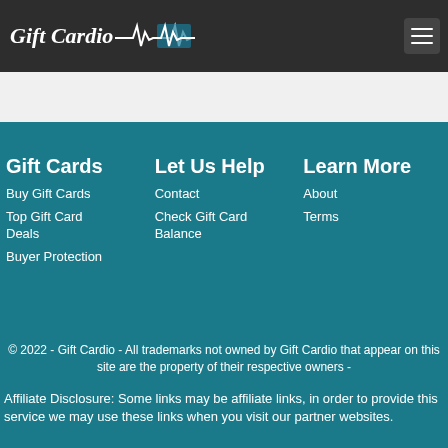Gift Cardio
Gift Cards
Buy Gift Cards
Top Gift Card Deals
Buyer Protection
Let Us Help
Contact
Check Gift Card Balance
Learn More
About
Terms
© 2022 - Gift Cardio - All trademarks not owned by Gift Cardio that appear on this site are the property of their respective owners -
Affiliate Disclosure: Some links may be affiliate links, in order to provide this service we may use these links when you visit our partner websites.